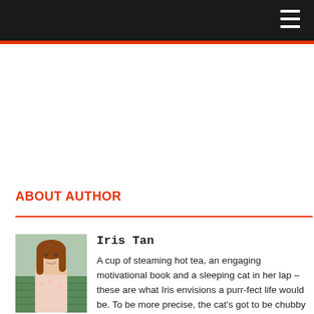ABOUT AUTHOR
[Figure (photo): Author photo of Iris Tan, a young woman with long hair standing outdoors in front of green tea plantation rows]
Iris Tan
A cup of steaming hot tea, an engaging motivational book and a sleeping cat in her lap – these are what Iris envisions a purr-fect life would be. To be more precise, the cat's got to be chubby and short. When she's not wasting her time on the never ending streams of feline videos, Iris enjoys daydreaming